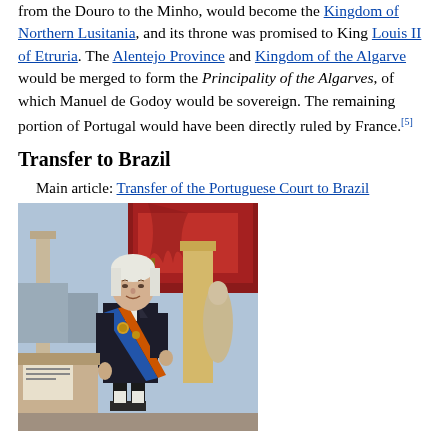from the Douro to the Minho, would become the Kingdom of Northern Lusitania, and its throne was promised to King Louis II of Etruria. The Alentejo Province and Kingdom of the Algarve would be merged to form the Principality of the Algarves, of which Manuel de Godoy would be sovereign. The remaining portion of Portugal would have been directly ruled by France.[5]
Transfer to Brazil
Main article: Transfer of the Portuguese Court to Brazil
[Figure (photo): Portrait painting of a man in formal black attire with medals and a sash, standing in front of classical columns with a red draped curtain. Historical figure associated with the transfer of the Portuguese Court to Brazil.]